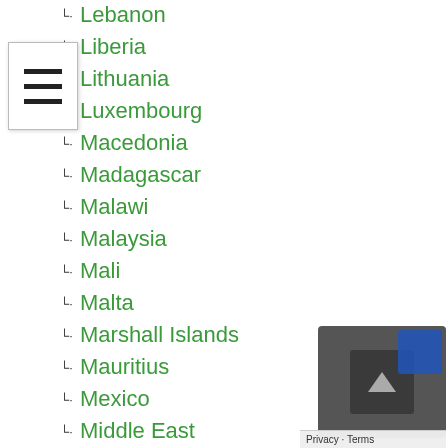Lebanon
Liberia
Lithuania
Luxembourg
Macedonia
Madagascar
Malawi
Malaysia
Mali
Malta
Marshall Islands
Mauritius
Mexico
Middle East
Monaco
Morocco
Mozambique
Myanmar/Burma
Namibia
Nepal
Netherlands
New Guinea
New Zealand
Nicaragua